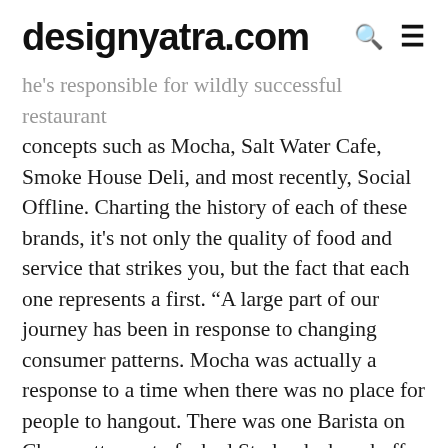designyatra.com
he's responsible for wildly successful restaurant concepts such as Mocha, Salt Water Cafe, Smoke House Deli, and most recently, Social Offline. Charting the history of each of these brands, it's not only the quality of food and service that strikes you, but the fact that each one represents a first. “A large part of our journey has been in response to changing consumer patterns. Mocha was actually a response to a time when there was no place for people to hangout. There was one Barista on Chowpatty, sort of a bad Starbucks knockoff. The need was rather glaring but we did not want to do a cut-paste Starbucks. So we took inspiration from a Turkish Qahveh Khaneh, a coffee house, and we